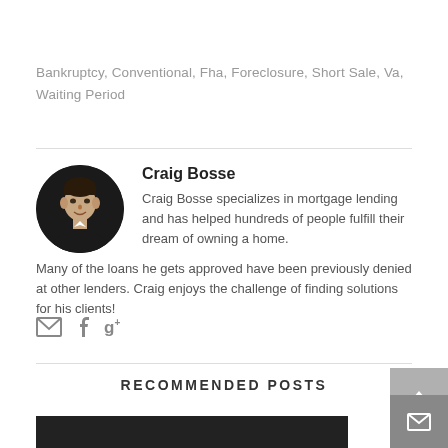Bankruptcy, Conventional, Fha, Foreclosure, Short Sale, Va, Waiting Period
[Figure (photo): Headshot of Craig Bosse, a man in a dark suit, circular cropped photo]
Craig Bosse
Craig Bosse specializes in mortgage lending and has helped hundreds of people fulfill their dream of owning a home. Many of the loans he gets approved have been previously denied at other lenders. Craig enjoys the challenge of finding solutions for his clients!
[Figure (other): Social media icons: envelope, facebook, google plus]
RECOMMENDED POSTS
[Figure (photo): Partial dark image strip at bottom of page]